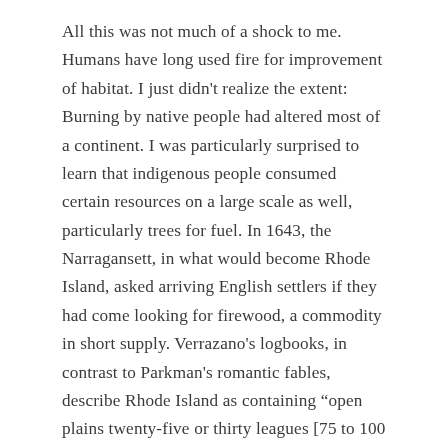All this was not much of a shock to me. Humans have long used fire for improvement of habitat. I just didn't realize the extent: Burning by native people had altered most of a continent. I was particularly surprised to learn that indigenous people consumed certain resources on a large scale as well, particularly trees for fuel. In 1643, the Narragansett, in what would become Rhode Island, asked arriving English settlers if they had come looking for firewood, a commodity in short supply. Verrazano's logbooks, in contrast to Parkman's romantic fables, describe Rhode Island as containing "open plains twenty-five or thirty leagues [75 to 100 square miles] in extent, entirely free from trees and other hindrances." These plains were obviously human-maintained, since trees in New England, as the locals know, sprout the moment active clearing ceases.